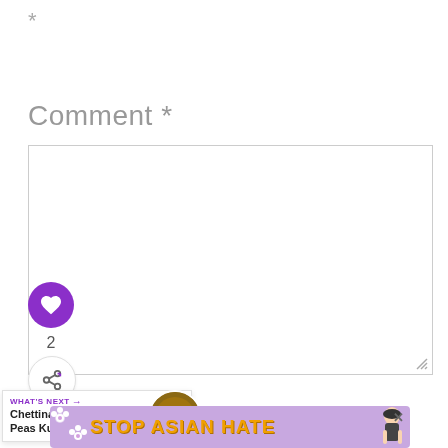*
Comment *
[Figure (screenshot): Comment text area input box, empty, with resize handle at bottom right]
[Figure (other): Purple heart like button circle icon]
2
[Figure (other): Share button circle with share icon]
WHAT'S NEXT → Chettinad Peas Kurma...
[Figure (photo): Circular thumbnail of Chettinad Peas Kurma dish]
[Figure (infographic): STOP ASIAN HATE advertisement banner with purple floral background, orange/yellow bold text, and anime-style woman character]